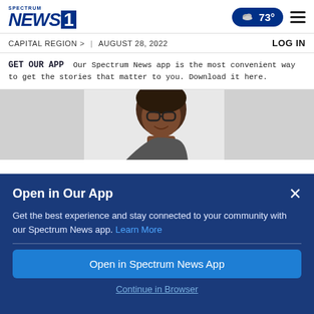SPECTRUM NEWS 1
CAPITAL REGION > | AUGUST 28, 2022   LOG IN
GET OUR APP Our Spectrum News app is the most convenient way to get the stories that matter to you. Download it here.
[Figure (photo): A person wearing glasses smiling, partially visible, against a light gray background]
Open in Our App
Get the best experience and stay connected to your community with our Spectrum News app. Learn More
Open in Spectrum News App
Continue in Browser